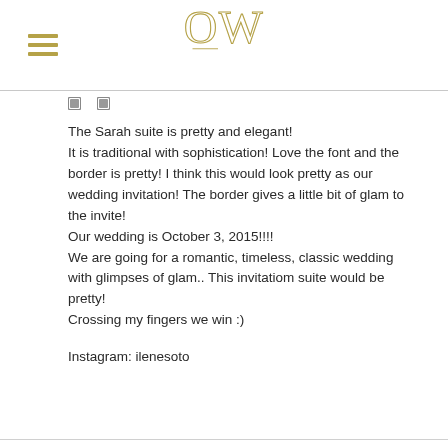OW logo and hamburger menu
The Sarah suite is pretty and elegant!
It is traditional with sophistication! Love the font and the border is pretty! I think this would look pretty as our wedding invitation! The border gives a little bit of glam to the invite!
Our wedding is October 3, 2015!!!!
We are going for a romantic, timeless, classic wedding with glimpses of glam.. This invitatiom suite would be pretty!
Crossing my fingers we win :)

Instagram: ilenesoto